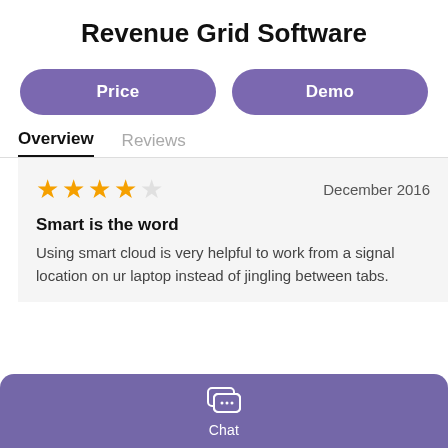Revenue Grid Software
Price
Demo
Overview
Reviews
December 2016
Smart is the word
Using smart cloud is very helpful to work from a signal location on ur laptop instead of jingling between tabs.
Chat